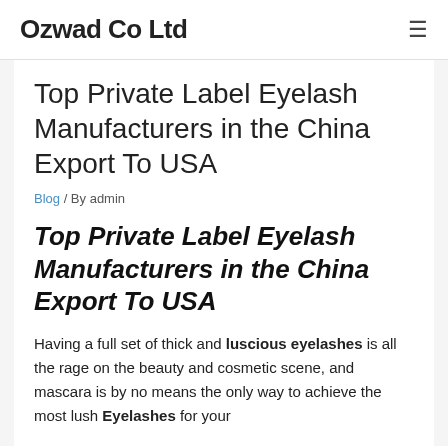Ozwad Co Ltd
Top Private Label Eyelash Manufacturers in the China Export To USA
Blog / By admin
Top Private Label Eyelash Manufacturers in the China Export To USA
Having a full set of thick and luscious eyelashes is all the rage on the beauty and cosmetic scene, and mascara is by no means the only way to achieve the most lush Eyelashes for your...